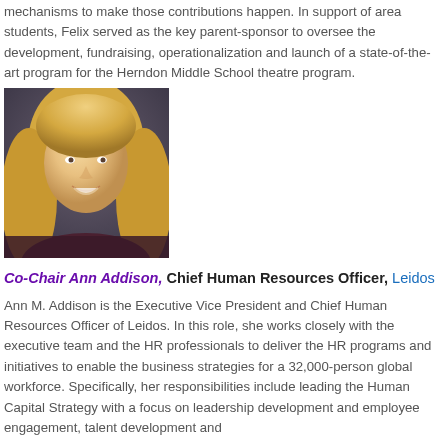mechanisms to make those contributions happen. In support of area students, Felix served as the key parent-sponsor to oversee the development, fundraising, operationalization and launch of a state-of-the-art program for the Herndon Middle School theatre program.
[Figure (photo): Professional headshot of Ann Addison, a woman with blonde hair, smiling, wearing a dark top, against a dark background.]
Co-Chair Ann Addison, Chief Human Resources Officer, Leidos
Ann M. Addison is the Executive Vice President and Chief Human Resources Officer of Leidos. In this role, she works closely with the executive team and the HR professionals to deliver the HR programs and initiatives to enable the business strategies for a 32,000-person global workforce. Specifically, her responsibilities include leading the Human Capital Strategy with a focus on leadership development and employee engagement, talent development and